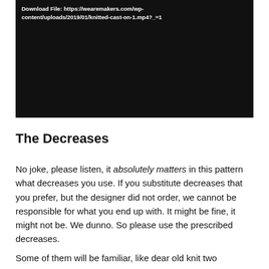[Figure (screenshot): Dark/black video player area with white bold text at top reading: Download File: https://wearemakers.com/wp-content/uploads/2019/01/knitted-cast-on-1.mp4?_=1]
The Decreases
No joke, please listen, it absolutely matters in this pattern what decreases you use. If you substitute decreases that you prefer, but the designer did not order, we cannot be responsible for what you end up with. It might be fine, it might not be. We dunno. So please use the prescribed decreases.
Some of them will be familiar, like dear old knit two